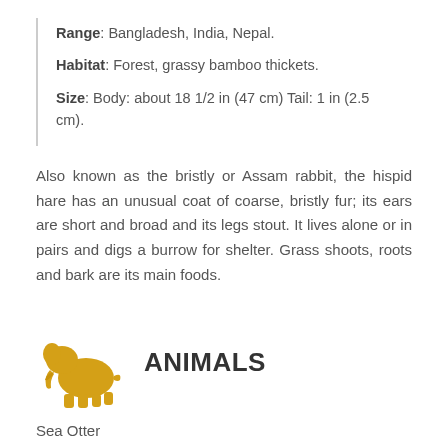Range: Bangladesh, India, Nepal.
Habitat: Forest, grassy bamboo thickets.
Size: Body: about 18 1/2 in (47 cm) Tail: 1 in (2.5 cm).
Also known as the bristly or Assam rabbit, the hispid hare has an unusual coat of coarse, bristly fur; its ears are short and broad and its legs stout. It lives alone or in pairs and digs a burrow for shelter. Grass shoots, roots and bark are its main foods.
[Figure (illustration): Golden/amber silhouette of an elephant icon]
ANIMALS
Sea Otter